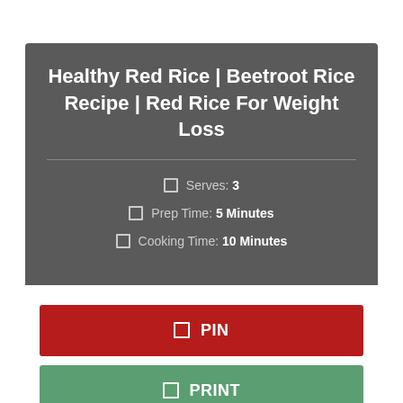Healthy Red Rice | Beetroot Rice Recipe | Red Rice For Weight Loss
🍽 Serves: 3
🕐 Prep Time: 5 Minutes
🕐 Cooking Time: 10 Minutes
📌 PIN
🖨 PRINT
Ingredients